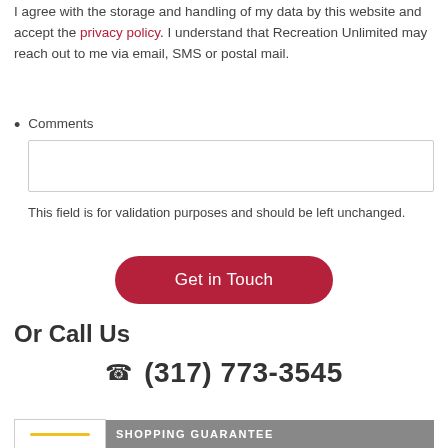I agree with the storage and handling of my data by this website and accept the privacy policy. I understand that Recreation Unlimited may reach out to me via email, SMS or postal mail.
Comments
This field is for validation purposes and should be left unchanged.
Get in Touch
Or Call Us
(317) 773-3545
[Figure (other): Shopping guarantee badge with logo and text]